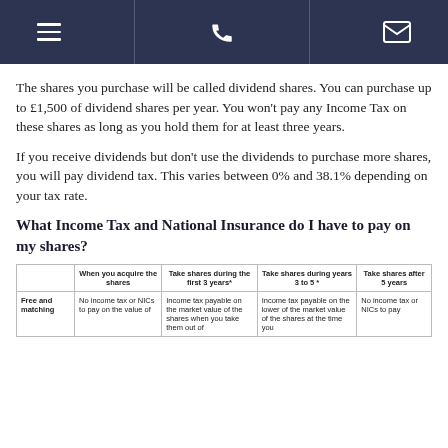[navigation icons: menu, phone, email]
The shares you purchase will be called dividend shares. You can purchase up to £1,500 of dividend shares per year. You won't pay any Income Tax on these shares as long as you hold them for at least three years.
If you receive dividends but don't use the dividends to purchase more shares, you will pay dividend tax. This varies between 0% and 38.1% depending on your tax rate.
What Income Tax and National Insurance do I have to pay on my shares?
|  | When you acquire the shares | Take shares during the first 3 years* | Take shares during years 3 to 5* | Take shares after 5 years |
| --- | --- | --- | --- | --- |
| Free and matching | No income tax or NICs to pay on the value of | Income tax payable on the market value of the shares when you take them out of | Income tax payable on the lower of the market value of the shares at the time you | No income tax or NICs to pay |